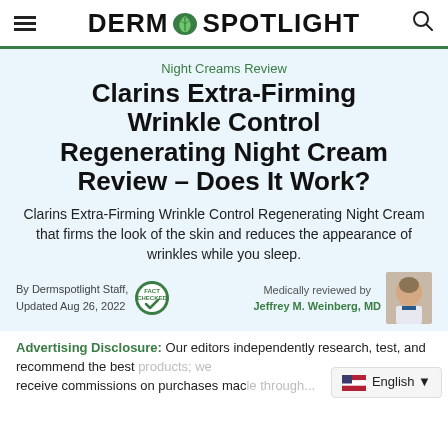DERM SPOTLIGHT
Night Creams Review
Clarins Extra-Firming Wrinkle Control Regenerating Night Cream Review – Does It Work?
Clarins Extra-Firming Wrinkle Control Regenerating Night Cream that firms the look of the skin and reduces the appearance of wrinkles while you sleep.
By Dermspotlight Staff, Updated Aug 26, 2022
Medically reviewed by Jeffrey M. Weinberg, MD
Advertising Disclosure: Our editors independently research, test, and recommend the best products; we receive commissions on purchases made...